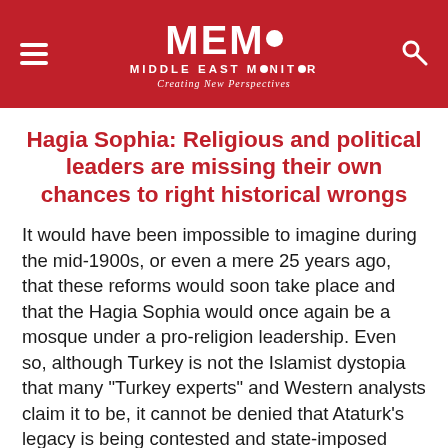MEMO MIDDLE EAST MONITOR Creating New Perspectives
Hagia Sophia: Religious and political leaders are missing their own chances to right historical wrongs
It would have been impossible to imagine during the mid-1900s, or even a mere 25 years ago, that these reforms would soon take place and that the Hagia Sophia would once again be a mosque under a pro-religion leadership. Even so, although Turkey is not the Islamist dystopia that many "Turkey experts" and Western analysts claim it to be, it cannot be denied that Ataturk's legacy is being contested and state-imposed secularism has taken a